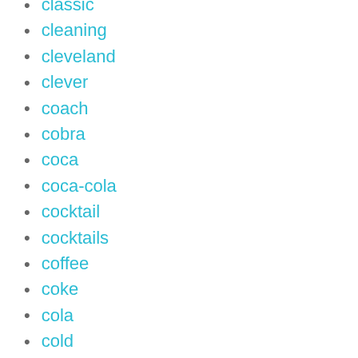classic
cleaning
cleveland
clever
coach
cobra
coca
coca-cola
cocktail
cocktails
coffee
coke
cola
cold
collectible
collectibles
collection
colorful
colt
community